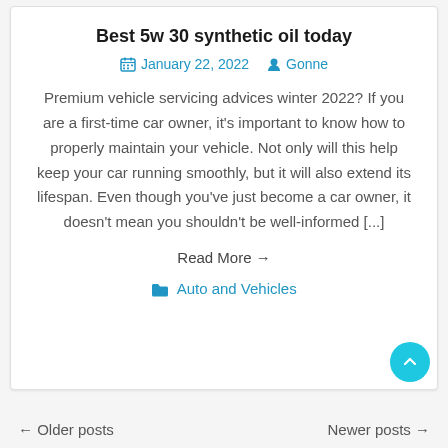Best 5w 30 synthetic oil today
January 22, 2022   Gonne
Premium vehicle servicing advices winter 2022? If you are a first-time car owner, it's important to know how to properly maintain your vehicle. Not only will this help keep your car running smoothly, but it will also extend its lifespan. Even though you've just become a car owner, it doesn't mean you shouldn't be well-informed [...]
Read More →
Auto and Vehicles
← Older posts    Newer posts →